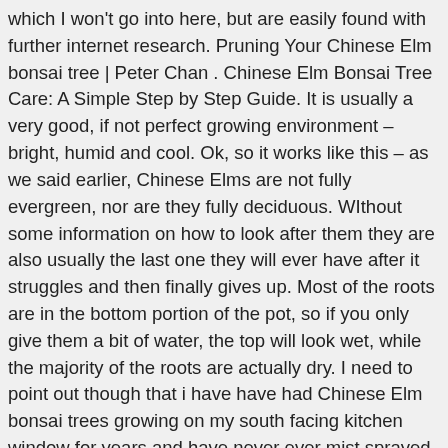which I won't go into here, but are easily found with further internet research. Pruning Your Chinese Elm bonsai tree | Peter Chan . Chinese Elm Bonsai Tree Care: A Simple Step by Step Guide. It is usually a very good, if not perfect growing environment – bright, humid and cool. Ok, so it works like this – as we said earlier, Chinese Elms are not fully evergreen, nor are they fully deciduous. WIthout some information on how to look after them they are also usually the last one they will ever have after it struggles and then finally gives up. Most of the roots are in the bottom portion of the pot, so if you only give them a bit of water, the top will look wet, while the majority of the roots are actually dry. I need to point out though that i have have had Chinese Elm bonsai trees growing on my south facing kitchen window for years and have never ever mist sprayed them. Just like any other bonsai The Chinese Elm also needs re-potting from time to time. All Things Bonsai is bonsai tree, tools and accessories shop based in Sheffield, South Yorkshire, selling a range of high-quality bonsai trees, bonsai tree gift sets and high-quality